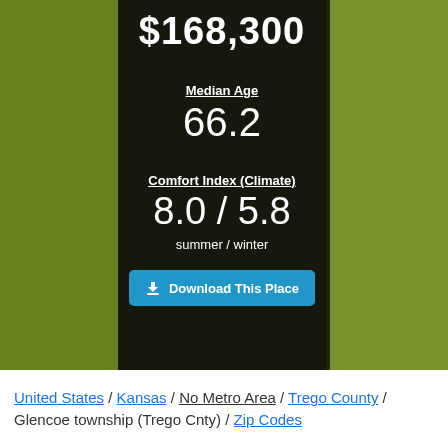$168,300
Median Age
66.2
Comfort Index (Climate)
8.0 / 5.8
summer / winter
Download This Place
United States / Kansas / No Metro Area / Trego County / Glencoe township (Trego Cnty) / Zip Codes